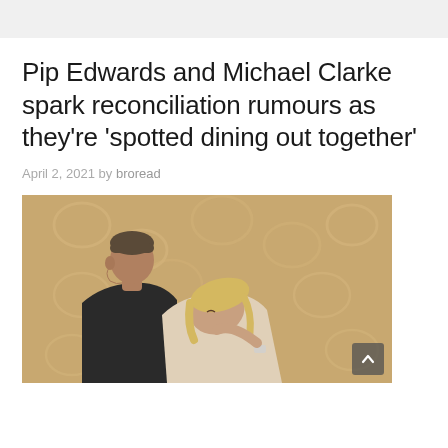Pip Edwards and Michael Clarke spark reconciliation rumours as they're 'spotted dining out together'
April 2, 2021 by broread
[Figure (photo): A man and woman posing together in front of a cream floral curtain. The man is wearing a black t-shirt and has short hair; the woman is blonde and leaning on his shoulder.]